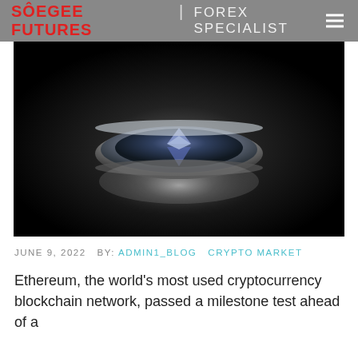SÔEGEE FUTURES | FOREX SPECIALIST
[Figure (photo): Close-up photograph of a silver Ethereum cryptocurrency coin with the Ethereum diamond logo on its face, dramatically lit against a dark black background with a bright halo/glow effect around the coin.]
JUNE 9, 2022   BY: ADMIN1_BLOG   CRYPTO MARKET
Ethereum, the world's most used cryptocurrency blockchain network, passed a milestone test ahead of a